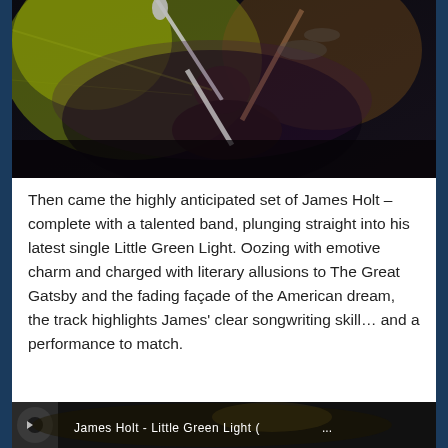[Figure (photo): Concert photo taken from above showing a performer at a microphone on a dark stage with green and yellow lighting effects]
Then came the highly anticipated set of James Holt – complete with a talented band, plunging straight into his latest single Little Green Light. Oozing with emotive charm and charged with literary allusions to The Great Gatsby and the fading façade of the American dream, the track highlights James' clear songwriting skill… and a performance to match.
[Figure (screenshot): YouTube or video player screenshot showing James Holt - Little Green Light with album art thumbnail and partial text visible]